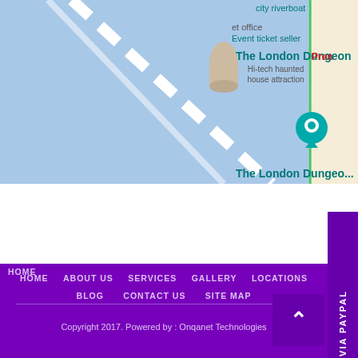[Figure (screenshot): Google Maps screenshot showing The London Dungeon location near the Thames river, with blue water area, street map, location pin, and text labels including 'The London Dungeon', 'Hi-tech haunted house attraction', 'city riverboat', 'et office', 'Event ticket seller']
PAY VIA PAYPAL
HOME
ABOUT US
SERVICES
GALLERY
LOCATIONS
BLOG
CONTACT US
SITE MAP
jody@petodorremovalservice.com  818-581-1722
877-386-3677   petodorexpert
Navigation Map
Copyright 2017. Powered by : Onqanet Technologies